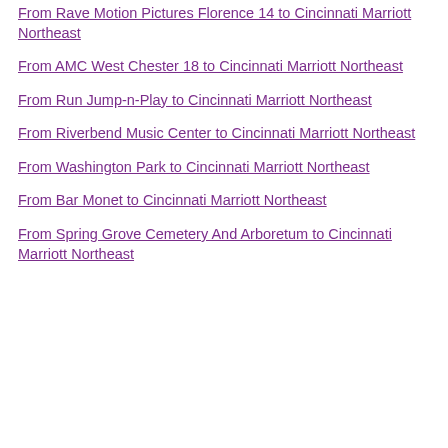From Rave Motion Pictures Florence 14 to Cincinnati Marriott Northeast
From AMC West Chester 18 to Cincinnati Marriott Northeast
From Run Jump-n-Play to Cincinnati Marriott Northeast
From Riverbend Music Center to Cincinnati Marriott Northeast
From Washington Park to Cincinnati Marriott Northeast
From Bar Monet to Cincinnati Marriott Northeast
From Spring Grove Cemetery And Arboretum to Cincinnati Marriott Northeast